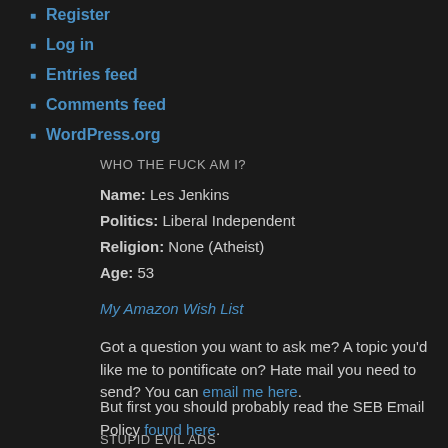Register
Log in
Entries feed
Comments feed
WordPress.org
WHO THE FUCK AM I?
Name: Les Jenkins
Politics: Liberal Independent
Religion: None (Atheist)
Age: 53
My Amazon Wish List
Got a question you want to ask me? A topic you'd like me to pontificate on? Hate mail you need to send? You can email me here.
But first you should probably read the SEB Email Policy found here.
STUPID EVIL ADS